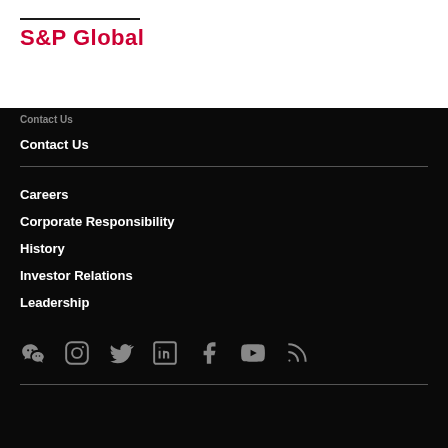[Figure (logo): S&P Global logo in red/crimson bold text with a dark horizontal line above it]
Contact Us
Careers
Corporate Responsibility
History
Investor Relations
Leadership
[Figure (other): Social media icons row: WeChat, Instagram, Twitter, LinkedIn, Facebook, YouTube, RSS feed]